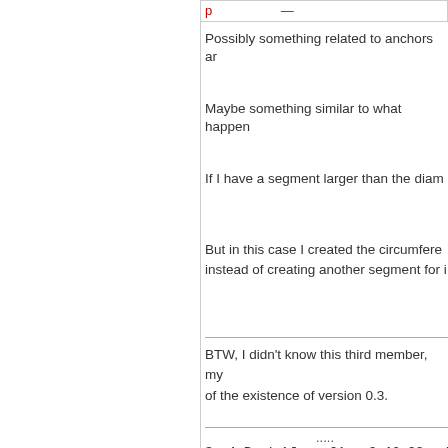Possibly something related to anchors ar
Maybe something similar to what happen
If I have a segment larger than the diam
But in this case I created the circumfere instead of creating another segment for i
BTW, I didn't know this third member, my of the existence of version 0.3.
.....
Samj Portable - Gimp 2.10.28 - Win-10  /64
Find
« Next Oldest | Next Newest »
Pages (2):  « Previous  1  2